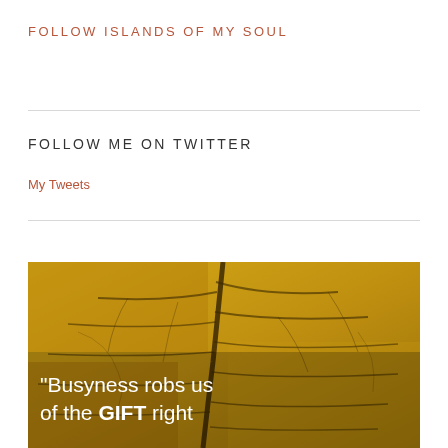FOLLOW ISLANDS OF MY SOUL
FOLLOW ME ON TWITTER
My Tweets
[Figure (photo): Close-up macro photograph of a dried golden-yellow leaf showing detailed vein structure. Text overlay reads: "Busyness robs us of the GIFT right"]